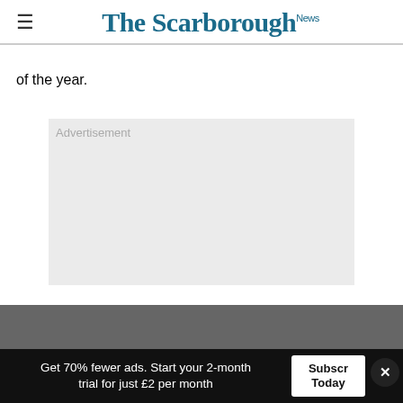The Scarborough News
of the year.
[Figure (other): Advertisement placeholder box with light gray background and 'Advertisement' label text]
Get 70% fewer ads. Start your 2-month trial for just £2 per month | Subscribe Today